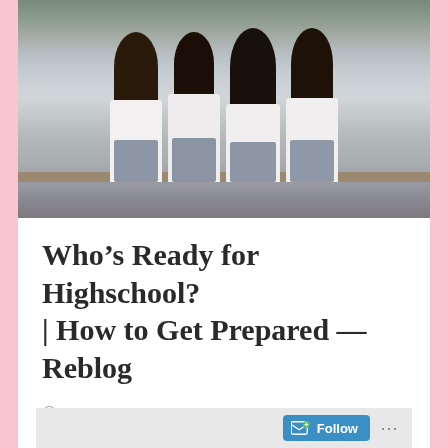[Figure (photo): Four schoolgirls in white shirts and grey pleated skirts seen from behind, standing in front of a chalkboard in a classroom, arms raised]
Who’s Ready for Highschool? | How to Get Prepared — Reblog
JULY 30, 2022
PRINCESS Q’ZION
LEAVE A COMMENT